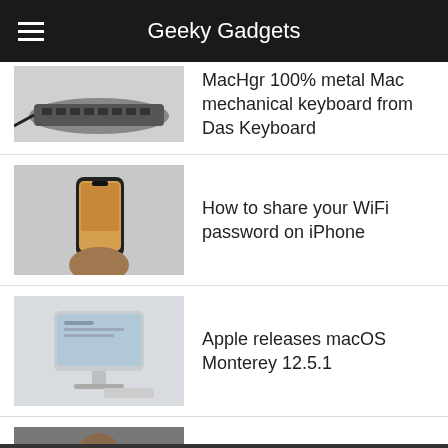Geeky Gadgets
MacHgr 100% metal Mac mechanical keyboard from Das Keyboard
How to share your WiFi password on iPhone
Apple releases macOS Monterey 12.5.1
watchOS 8.7.1 software update released Apple Watch Series 3